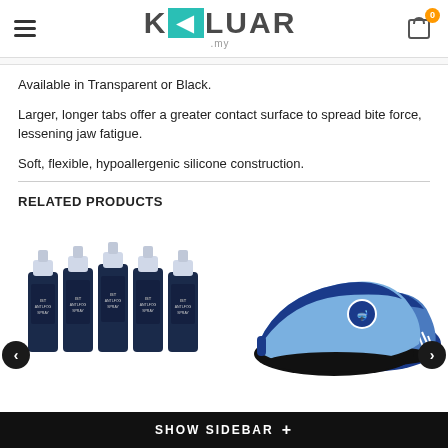KELUAR .my — navigation header with hamburger menu and cart (0 items)
Available in Transparent or Black.
Larger, longer tabs offer a greater contact surface to spread bite force, lessening jaw fatigue.
Soft, flexible, hypoallergenic silicone construction.
RELATED PRODUCTS
[Figure (photo): Five IST Anti-Fog Spray bottles arranged in a row, dark blue bottles with white caps]
[Figure (photo): Two blue water shoes/aqua shoes displayed, navy blue and light blue color scheme with a diver logo]